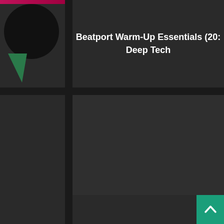[Figure (screenshot): Top-left card: dark background with magenta top bar, circular dark logo element, and green triangle shape at bottom]
Beatport Warm-Up Essentials (20
Deep Tech
[Figure (screenshot): Middle-left card: dark card, partially showing pink/magenta accent bar and Techno label]
) Techno
[Figure (screenshot): Middle-right card: dark gray card with EXCLUSIVE badge in teal/green]
EXCLUSIVE
Beatport Warm-Up Essentials (20
H&T
[Figure (screenshot): Bottom-left card: dark gray partially visible card]
[Figure (screenshot): Bottom-right card: dark gray partially visible card]
[Figure (other): Scroll-to-top button: teal square with white upward arrow icon]